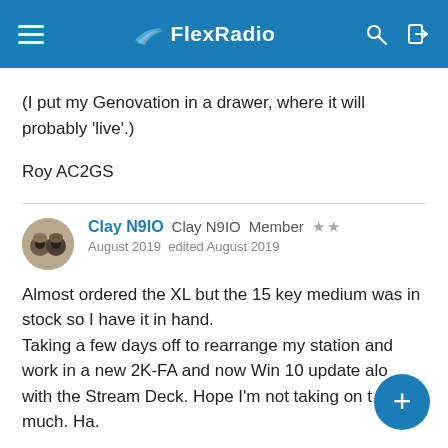FlexRadio
(I put my Genovation in a drawer, where it will probably 'live'.)
Roy AC2GS
Clay N9IO  Clay N9IO  Member  ★★
August 2019  edited August 2019
Almost ordered the XL but the 15 key medium was in stock so I have it in hand.
Taking a few days off to rearrange my station and work in a new 2K-FA and now Win 10 update along with the Stream Deck. Hope I'm not taking on too much. Ha.